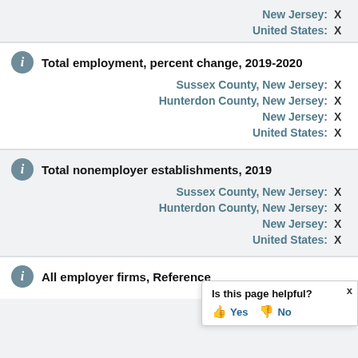New Jersey: X
United States: X
Total employment, percent change, 2019-2020
Sussex County, New Jersey: X
Hunterdon County, New Jersey: X
New Jersey: X
United States: X
Total nonemployer establishments, 2019
Sussex County, New Jersey: X
Hunterdon County, New Jersey: X
New Jersey: X
United States: X
All employer firms, Reference
Is this page helpful? Yes No